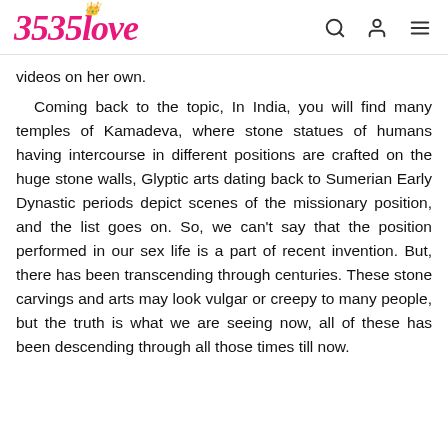BSBSlove
videos on her own.
Coming back to the topic, In India, you will find many temples of Kamadeva, where stone statues of humans having intercourse in different positions are crafted on the huge stone walls, Glyptic arts dating back to Sumerian Early Dynastic periods depict scenes of the missionary position, and the list goes on. So, we can't say that the position performed in our sex life is a part of recent invention. But, there has been transcending through centuries. These stone carvings and arts may look vulgar or creepy to many people, but the truth is what we are seeing now, all of these has been descending through all those times till now.